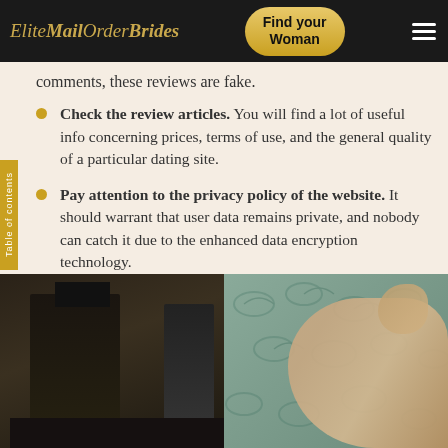EliteMailOrderBrides | Find your Woman
comments, these reviews are fake.
Check the review articles. You will find a lot of useful info concerning prices, terms of use, and the general quality of a particular dating site.
Pay attention to the privacy policy of the website. It should warrant that user data remains private, and nobody can catch it due to the enhanced data encryption technology.
Find out whether the site uses anti-scam policy or not. The reliable platform should ban scammy accounts and carefully review all newcomers.
[Figure (photo): Photo showing a room with dark furniture on the left side and a person's arm/body against a floral patterned background on the right side]